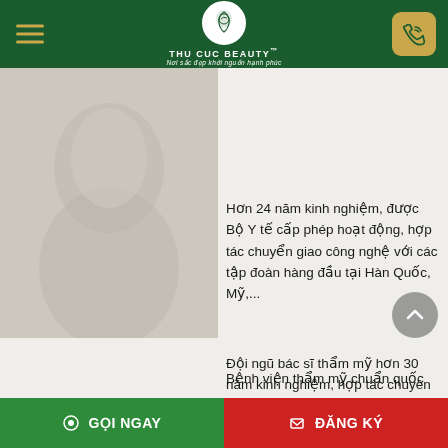THU CUC BEAUTY™ — Nơi sắc đẹp khởi nguồn hạnh phúc
[Figure (photo): Beauty clinic photo/image on the left side of the page]
Hơn 24 năm kinh nghiệm, được Bộ Y tế cấp phép hoạt động, hợp tác chuyển giao công nghệ với các tập đoàn hàng đầu tại Hàn Quốc, Mỹ,...
Đội ngũ bác sĩ thẩm mỹ hơn 30 năm kinh nghiệm, hợp tác chuyên môn quốc tế với CuBa, Singapore,...
Bệnh viện thẩm mỹ chuẩn quốc (cut off)
GỌI NGAY | ĐĂNG KÝ